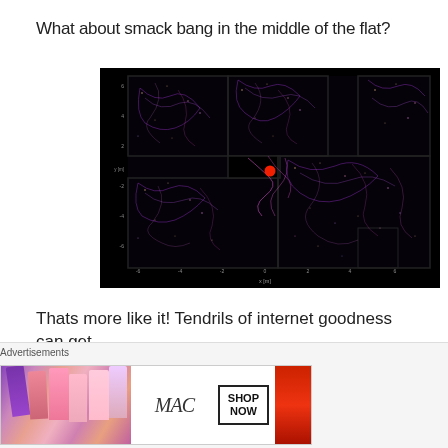What about smack bang in the middle of the flat?
[Figure (continuous-plot): A 2D map/plot with black background showing a flat floor plan overlaid with purple and yellow network-like filament structures (cosmic web or WiFi signal simulation). A red dot marks the center point. Axes are labeled with numeric values, x-axis labeled 'x [m]'. The layout shows rooms of an apartment/flat with signal coverage visualized as glowing tendrils.]
Thats more like it! Tendrils of internet goodness can get
everywhere, even into the bathroom where no one at all
Advertisements
[Figure (photo): MAC cosmetics advertisement banner showing colorful lipsticks on left, MAC logo in center, SHOP NOW box, and a red lipstick on right.]